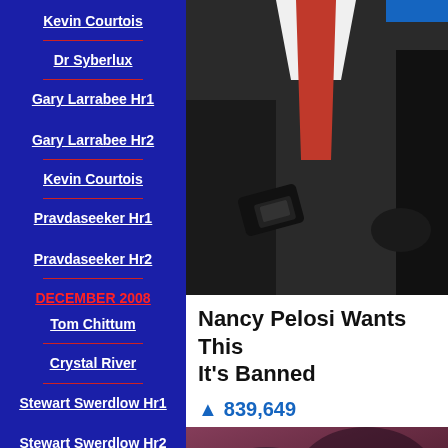Kevin Courtois
Dr Syberlux
Gary Larrabee Hr1
Gary Larrabee Hr2
Kevin Courtois
Pravdaseeker Hr1
Pravdaseeker Hr2
DECEMBER 2008
Tom Chittum
Crystal River
Stewart Swerdlow Hr1
Stewart Swerdlow Hr2
Janet Swerdlow Hr1
[Figure (photo): Photo of person in black suit with red/pink tie holding a phone/device, blue stripe visible at top right]
Nancy Pelosi Wants This It's Banned
🔥 839,649
[Figure (photo): Dark reddish-purple background image, bottom portion of page]